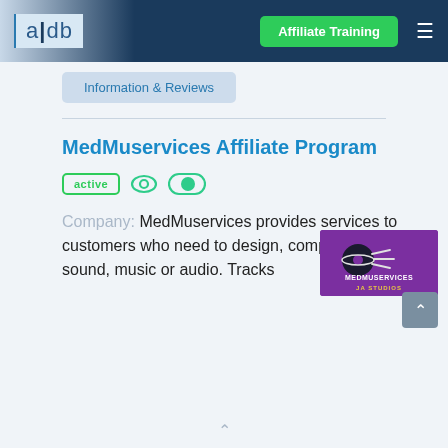a|db  Affiliate Training  ☰
Information & Reviews
MedMuservices Affiliate Program
active
Company: MedMuservices provides services to customers who need to design, compose or make sound, music or audio. Tracks
[Figure (logo): MedMuservices JA Studios logo — purple background with music disc icon and stylized text]